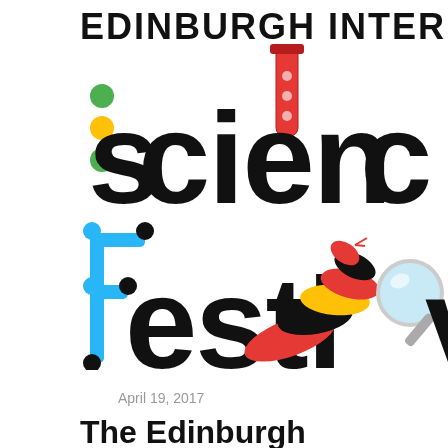[Figure (logo): Edinburgh International Science Festival logo featuring large bold text 'science' and 'festival' with illustrated icons: test tube, colorful dots, circuit-style letter f, a coral snake, and a magnifying glass]
April 19, 2017
The Edinburgh